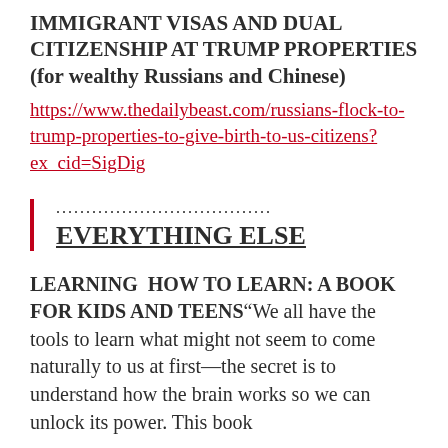IMMIGRANT VISAS AND DUAL CITIZENSHIP AT TRUMP PROPERTIES (for wealthy Russians and Chinese)
https://www.thedailybeast.com/russians-flock-to-trump-properties-to-give-birth-to-us-citizens?ex_cid=SigDig
....................................
EVERYTHING ELSE
LEARNING  HOW TO LEARN: A BOOK FOR KIDS AND TEENS"We all have the tools to learn what might not seem to come naturally to us at first—the secret is to understand how the brain works so we can unlock its power. This book